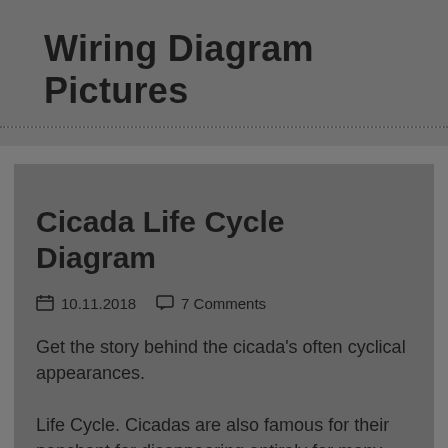Wiring Diagram Pictures
Cicada Life Cycle Diagram
10.11.2018   7 Comments
Get the story behind the cicada's often cyclical appearances.
Life Cycle. Cicadas are also famous for their penchant for disappearing entirely for many years.